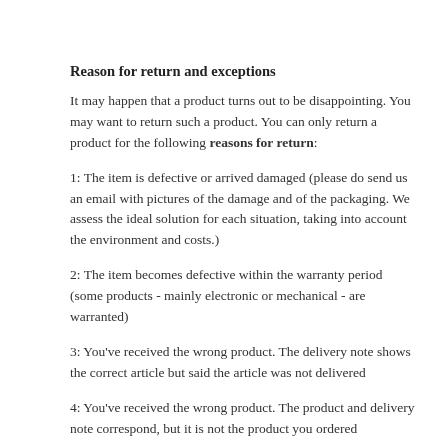Reason for return and exceptions
It may happen that a product turns out to be disappointing. You may want to return such a product. You can only return a product for the following reasons for return:
1: The item is defective or arrived damaged (please do send us an email with pictures of the damage and of the packaging. We assess the ideal solution for each situation, taking into account the environment and costs.)
2: The item becomes defective within the warranty period (some products - mainly electronic or mechanical - are warranted)
3: You've received the wrong product. The delivery note shows the correct article but said the article was not delivered
4: You've received the wrong product. The product and delivery note correspond, but it is not the product you ordered